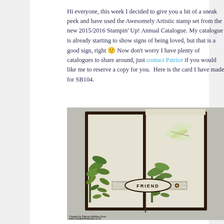Hi everyone, this week I decided to give you a bit of a sneak peek and have used the Awesomely Artistic stamp set from the new 2015/2016 Stampin' Up! Annual Catalogue. My catalogue is already starting to show signs of being loved, but that is a good sign, right 🙂 Now don't worry I have plenty of catalogues to share around, just contact Patrice if you would like me to reserve a copy for you.  Here is the card I have made for SB104.
[Figure (photo): A handmade greeting card featuring an Awesomely Artistic stamp set design with a dragonfly, green botanical foliage, and an oval 'FRIEND' label. The card is dark brown with a beige/cream interior, displayed on a light gray surface. Photo credit: Created by Patrice Halliday-Dunn, www.createwithstamps.co.nz]